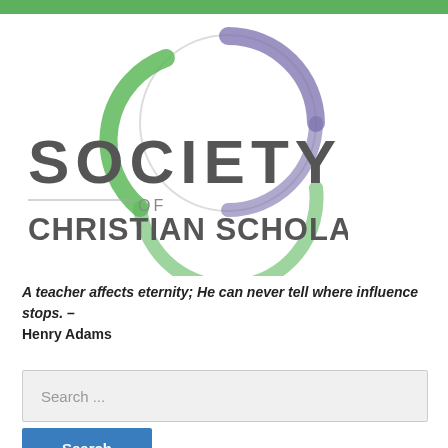[Figure (logo): Society of Christian Scholars logo with circular globe graphic in green and purple, text reading SOCIETY OF CHRISTIAN SCHOLARS]
A teacher affects eternity; He can never tell where influence stops. – Henry Adams
Search ...
Search